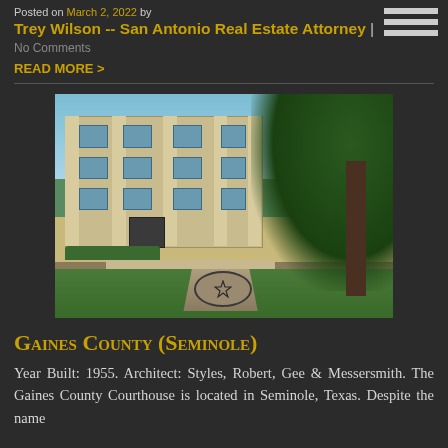Posted on March 2, 2022 by
Trey Wilson -- San Antonio Real Estate Attorney | No Comments
READ MORE >
[Figure (photo): Photograph of Gaines County Courthouse in Seminole, Texas, a multi-story beige stone building with large trees in front and a Texas star monument marker in the foreground]
Gaines County (Seminole)
Year Built: 1955. Architect: Styles, Robert, Gee & Messersmith. The Gaines County Courthouse is located in Seminole, Texas. Despite the name